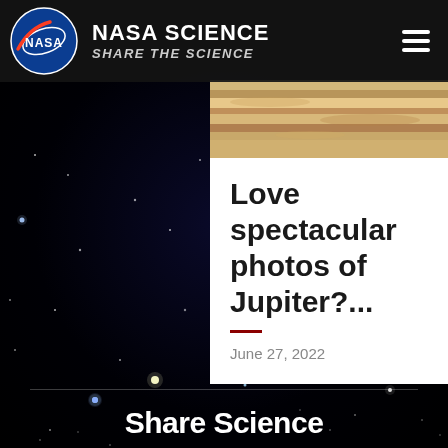NASA SCIENCE — SHARE THE SCIENCE
[Figure (photo): Top portion of Jupiter showing cloud bands in warm browns and creams, from a NASA telescope]
Love spectacular photos of Jupiter?...
June 27, 2022
[Figure (photo): Deep space starfield background showing a dark sky filled with stars of varying brightness, some bright blue-white stars visible]
Share Science